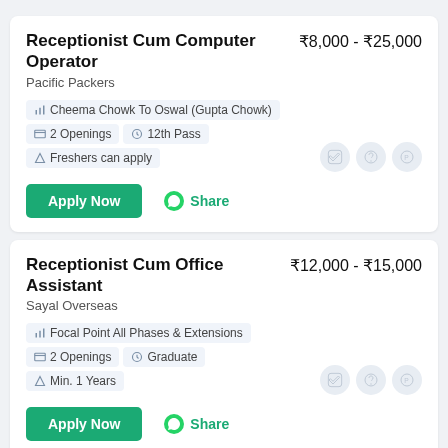Receptionist Cum Computer Operator | Pacific Packers | ₹8,000 - ₹25,000 | Cheema Chowk To Oswal (Gupta Chowk) | 2 Openings | 12th Pass | Freshers can apply
Receptionist Cum Office Assistant | Sayal Overseas | ₹12,000 - ₹15,000 | Focal Point All Phases & Extensions | 2 Openings | Graduate | Min. 1 Years
Spa Receptionist | RED ORCHID HOSPITALITY PVT LTD | ₹15,000 - ₹18,000